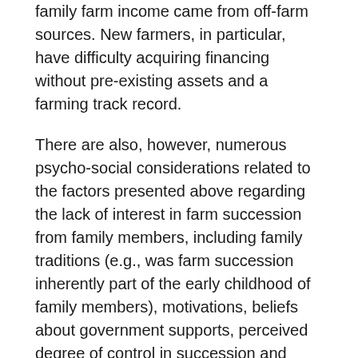family farm income came from off-farm sources. New farmers, in particular, have difficulty acquiring financing without pre-existing assets and a farming track record.
There are also, however, numerous psycho-social considerations related to the factors presented above regarding the lack of interest in farm succession from family members, including family traditions (e.g., was farm succession inherently part of the early childhood of family members), motivations, beliefs about government supports, perceived degree of control in succession and feelings about the general state of farming (May et al., 2019). Because of all these realities, there are new models of farm transfer being implemented on small and experimental scales, and these are discussed further in Solutions.
New farmers from non-farm backgrounds are much more likely to be interested in ecological production